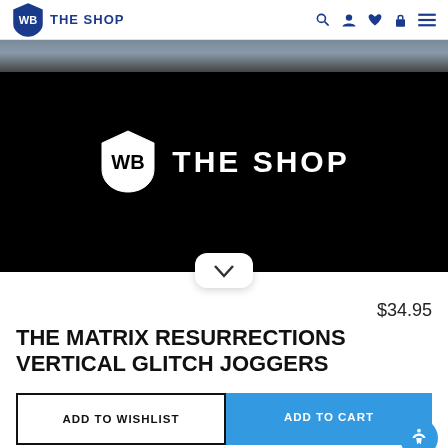WB THE SHOP
[Figure (logo): WB The Shop hero banner with Warner Bros shield logo and THE SHOP text on black background, with cloudy sky at top]
$34.95
THE MATRIX RESURRECTIONS VERTICAL GLITCH JOGGERS
ADD TO WISHLIST
ADD TO CART